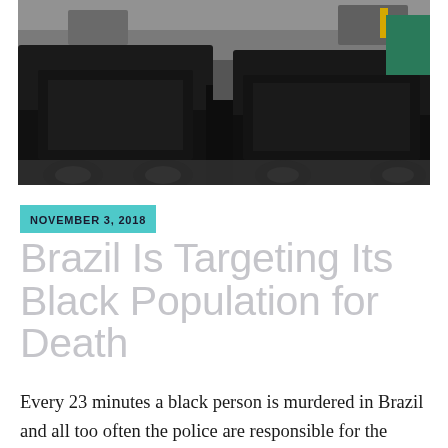[Figure (photo): Dark military or police vehicles/trucks photographed from behind in a wet parking area or depot]
NOVEMBER 3, 2018
Brazil Is Targeting Its Black Population for Death
Every 23 minutes a black person is murdered in Brazil and all too often the police are responsible for the killing.